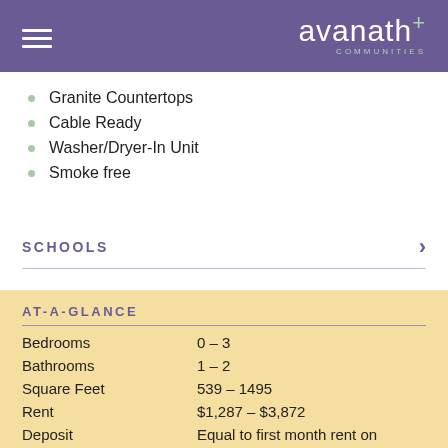avanath COMMUNITIES
Granite Countertops
Cable Ready
Washer/Dryer-In Unit
Smoke free
SCHOOLS
AT-A-GLANCE
|  |  |
| --- | --- |
| Bedrooms | 0 – 3 |
| Bathrooms | 1 – 2 |
| Square Feet | 539 – 1495 |
| Rent | $1,287 – $3,872 |
| Deposit | Equal to first month rent on |